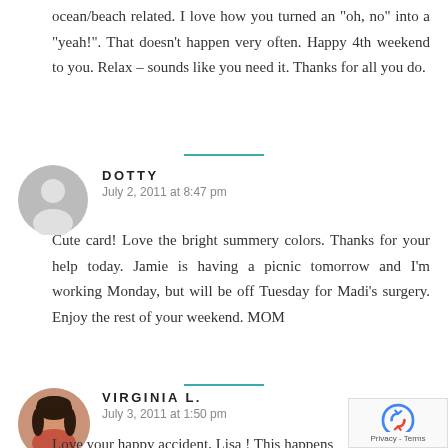ocean/beach related. I love how you turned an "oh, no" into a "yeah!". That doesn't happen very often. Happy 4th weekend to you. Relax – sounds like you need it. Thanks for all you do.
DOTTY
July 2, 2011 at 8:47 pm
Cute card! Love the bright summery colors. Thanks for your help today. Jamie is having a picnic tomorrow and I'm working Monday, but will be off Tuesday for Madi's surgery. Enjoy the rest of your weekend. MOM
VIRGINIA L.
July 3, 2011 at 1:50 pm
Love your happy accident, Lisa ! This happens